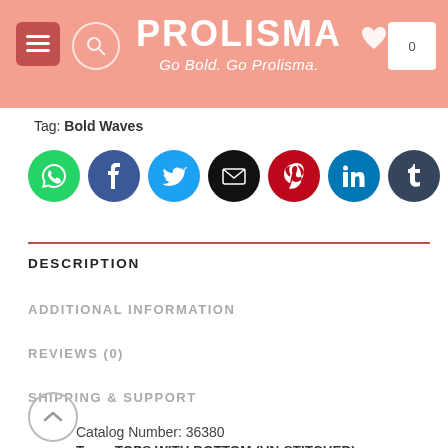PROLISMA — Go Bold. Go Prolisma.
Tag: Bold Waves
[Figure (infographic): Row of 7 social media share icons: WhatsApp (green), Facebook (dark blue), Twitter (light blue), Email (black), Pinterest (red), LinkedIn (blue), Tumblr (dark slate)]
DESCRIPTION
ADDITIONAL INFORMATION
REVIEWS (0)
SHIPPING & SUPPORT
Catalog Number: 36380
Type: TOPS WITH BOTTOM (UN-STITCHED)